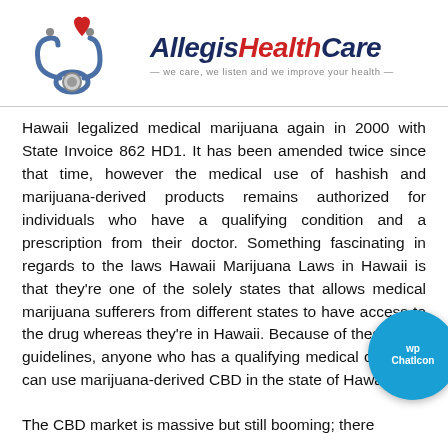[Figure (logo): Allegis HealthCare logo with red heart, stethoscope, and tagline 'we care, we listen and we improve your health']
Hawaii legalized medical marijuana again in 2000 with State Invoice 862 HD1. It has been amended twice since that time, however the medical use of hashish and marijuana-derived products remains authorized for individuals who have a qualifying condition and a prescription from their doctor. Something fascinating in regards to the laws Hawaii Marijuana Laws in Hawaii is that they're one of the solely states that allows medical marijuana sufferers from different states to have access to the drug whereas they're in Hawaii. Because of these legal guidelines, anyone who has a qualifying medical condition can use marijuana-derived CBD in the state of Hawaii.
The CBD market is massive but still booming; there